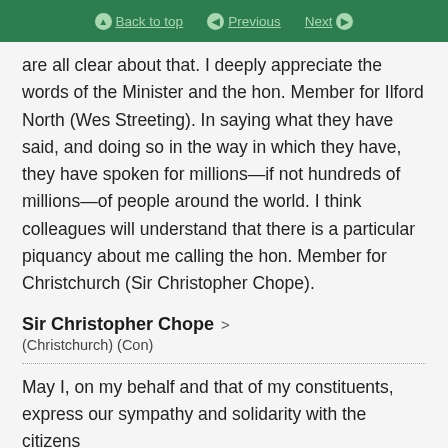Back to top | Previous | Next
are all clear about that. I deeply appreciate the words of the Minister and the hon. Member for Ilford North (Wes Streeting). In saying what they have said, and doing so in the way in which they have, they have spoken for millions—if not hundreds of millions—of people around the world. I think colleagues will understand that there is a particular piquancy about me calling the hon. Member for Christchurch (Sir Christopher Chope).
Sir Christopher Chope
(Christchurch) (Con)
May I, on my behalf and that of my constituents, express our sympathy and solidarity with the citizens